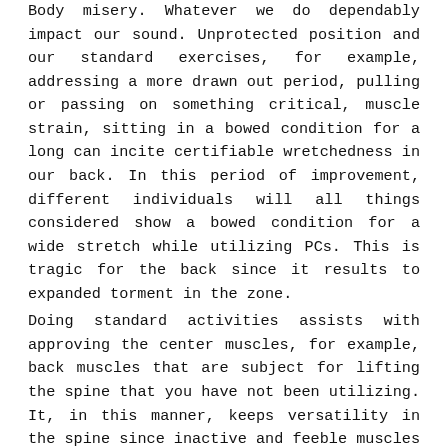Body misery. Whatever we do dependably impact our sound. Unprotected position and our standard exercises, for example, addressing a more drawn out period, pulling or passing on something critical, muscle strain, sitting in a bowed condition for a long can incite certifiable wretchedness in our back. In this period of improvement, different individuals will all things considered show a bowed condition for a wide stretch while utilizing PCs. This is tragic for the back since it results to expanded torment in the zone.
Doing standard activities assists with approving the center muscles, for example, back muscles that are subject for lifting the spine that you have not been utilizing. It, in this manner, keeps versatility in the spine since inactive and feeble muscles make an individual encounter absurd hopelessness. Moreover, those individuals who contribute the vast majority of their energy sitting in the workplace for over 8 hours